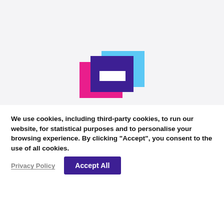[Figure (logo): Colorful logo made of overlapping rectangles: a light blue rectangle behind, a magenta/pink rectangle on the left, a dark purple/indigo square in the center, and a white horizontal rectangle cutout in the center of the purple square.]
We use cookies, including third-party cookies, to run our website, for statistical purposes and to personalise your browsing experience. By clicking “Accept”, you consent to the use of all cookies.
Privacy Policy
Accept All